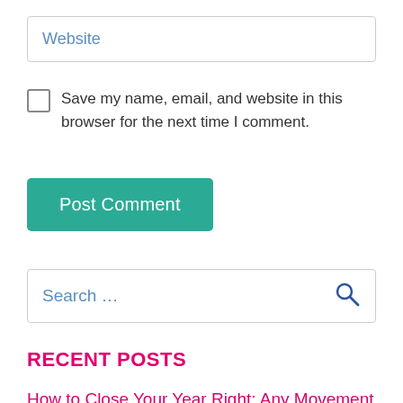Website
Save my name, email, and website in this browser for the next time I comment.
Post Comment
Search …
RECENT POSTS
How to Close Your Year Right: Any Movement on Your Mission?
How to Close Your Year Right: Lonely or In Love? ❤